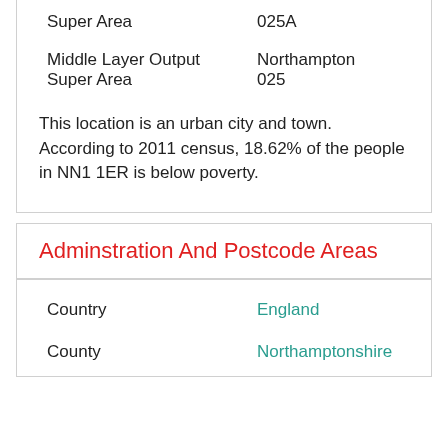| Super Area | 025A |
| Middle Layer Output Super Area | Northampton 025 |
This location is an urban city and town. According to 2011 census, 18.62% of the people in NN1 1ER is below poverty.
Adminstration And Postcode Areas
| Country | England |
| County | Northamptonshire |